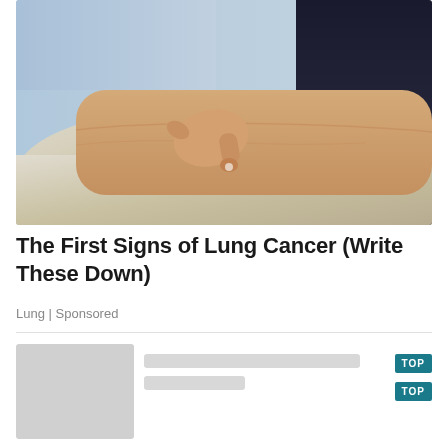[Figure (photo): A doctor or medical professional pressing a finger into a patient's ankle/lower leg to check for pitting edema, patient's leg resting on a pillow or cushion]
The First Signs of Lung Cancer (Write These Down)
Lung | Sponsored
[Figure (other): Partially visible content card with thumbnail placeholder and text lines and teal TOP badge]